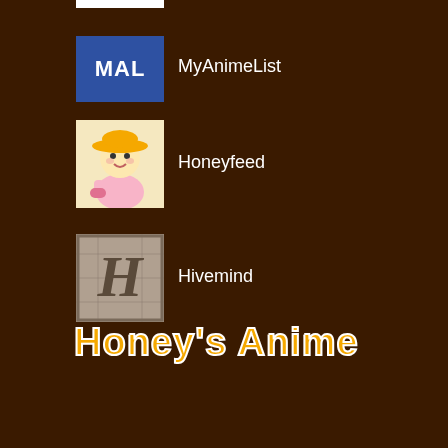[Figure (logo): MyAnimeList (MAL) logo - blue rectangle with white bold text 'MAL']
MyAnimeList
[Figure (logo): Honeyfeed logo - cartoon illustration of a blonde girl in a hat with pink/yellow coloring]
Honeyfeed
[Figure (logo): Hivemind logo - ornate letter H on a stone/gray textured background]
Hivemind
Honey's Anime